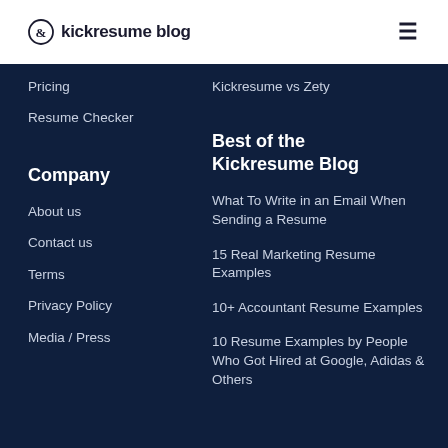kickresume blog
Pricing
Resume Checker
Kickresume vs Zety
Company
About us
Contact us
Terms
Privacy Policy
Media / Press
Best of the Kickresume Blog
What To Write in an Email When Sending a Resume
15 Real Marketing Resume Examples
10+ Accountant Resume Examples
10 Resume Examples by People Who Got Hired at Google, Adidas & Others